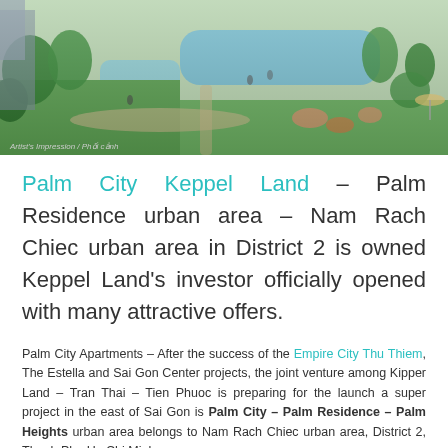[Figure (photo): Aerial artistic impression of Palm City residential development showing lush green landscaping, winding waterways, swimming pools, trees, and pedestrian paths with people. Caption reads: Artist's Impression / Phối cảnh]
Artist's Impression / Phối cảnh
Palm City Keppel Land – Palm Residence urban area – Nam Rach Chiec urban area in District 2 is owned Keppel Land's investor officially opened with many attractive offers.
Palm City Apartments – After the success of the Empire City Thu Thiem, The Estella and Sai Gon Center projects, the joint venture among Kipper Land – Tran Thai – Tien Phuoc is preparing for the launch a super project in the east of Sai Gon is Palm City – Palm Residence – Palm Heights urban area belongs to Nam Rach Chiec urban area, District 2, Thanh Pho Ho Chi Minh.